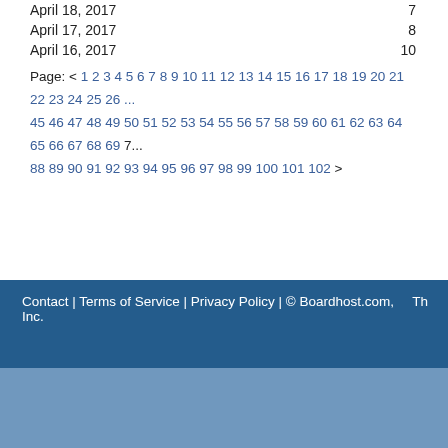April 18, 2017   7
April 17, 2017   8
April 16, 2017   10
Page: < 1 2 3 4 5 6 7 8 9 10 11 12 13 14 15 16 17 18 19 20 21 22 23 24 25 26 ... 45 46 47 48 49 50 51 52 53 54 55 56 57 58 59 60 61 62 63 64 65 66 67 68 69 7... 88 89 90 91 92 93 94 95 96 97 98 99 100 101 102 >
Contact | Terms of Service | Privacy Policy | © Boardhost.com, Inc.   Th...